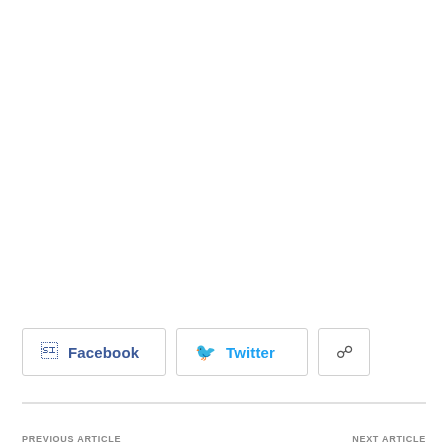Facebook
Twitter
PREVIOUS ARTICLE
NEXT ARTICLE